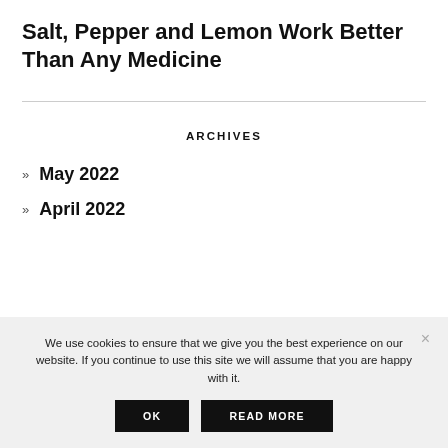Salt, Pepper and Lemon Work Better Than Any Medicine
ARCHIVES
May 2022
April 2022
We use cookies to ensure that we give you the best experience on our website. If you continue to use this site we will assume that you are happy with it.
OK
READ MORE